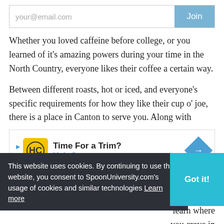your@email.com
Whether you loved caffeine before college, or you learned of it's amazing powers during your time in the North Country, everyone likes their coffee a certain way.
Between different roasts, hot or iced, and everyone's specific requirements for how they like their cup o' joe, there is a place in Canton to serve you. Along with
[Figure (other): Advertisement for Hair Cuttery: Time For a Trim?]
This website uses cookies. By continuing to use this website, you consent to SpoonUniversity.com's usage of cookies and similar technologies Learn more
een difficult to get out of learn where you crave in Canton, NY.